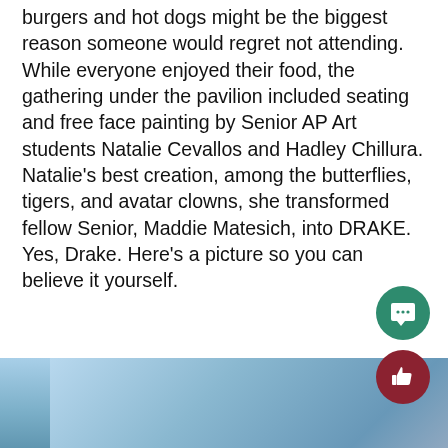burgers and hot dogs might be the biggest reason someone would regret not attending. While everyone enjoyed their food, the gathering under the pavilion included seating and free face painting by Senior AP Art students Natalie Cevallos and Hadley Chillura. Natalie's best creation, among the butterflies, tigers, and avatar clowns, she transformed fellow Senior, Maddie Matesich, into DRAKE. Yes, Drake. Here's a picture so you can believe it yourself.
[Figure (photo): A photo strip at the bottom of the page showing a blue sky background, partially visible.]